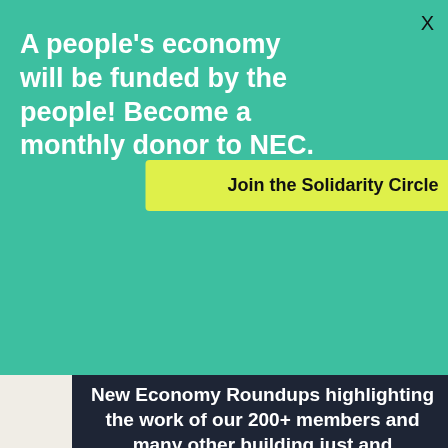A people's economy will be funded by the people! Become a monthly donor to NEC.
Join the Solidarity Circle
New Economy Roundups highlighting the work of our 200+ members and many other building just and sustainable economies around the world.
First Name
Last Name